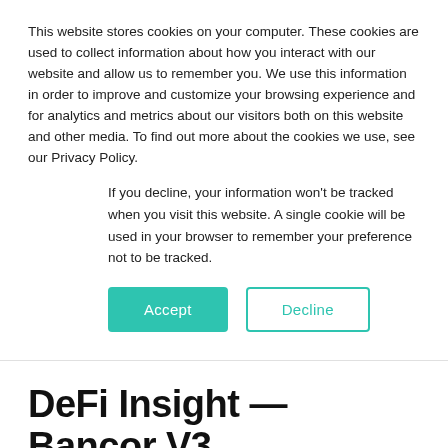This website stores cookies on your computer. These cookies are used to collect information about how you interact with our website and allow us to remember you. We use this information in order to improve and customize your browsing experience and for analytics and metrics about our visitors both on this website and other media. To find out more about the cookies we use, see our Privacy Policy.
If you decline, your information won't be tracked when you visit this website. A single cookie will be used in your browser to remember your preference not to be tracked.
Accept | Decline
DeFi Insight — Bancor V3 released
by Valentin Kalinov on Jun 2, 2022 3:34:00 PM